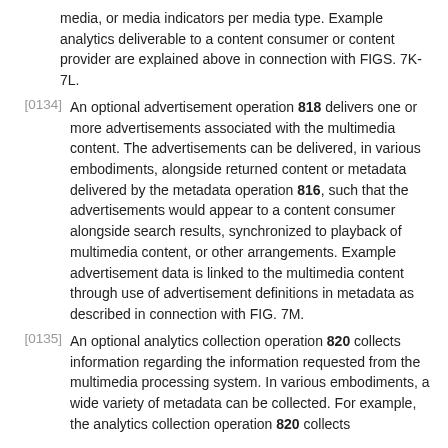media, or media indicators per media type. Example analytics deliverable to a content consumer or content provider are explained above in connection with FIGS. 7K-7L.
[0134] An optional advertisement operation 818 delivers one or more advertisements associated with the multimedia content. The advertisements can be delivered, in various embodiments, alongside returned content or metadata delivered by the metadata operation 816, such that the advertisements would appear to a content consumer alongside search results, synchronized to playback of multimedia content, or other arrangements. Example advertisement data is linked to the multimedia content through use of advertisement definitions in metadata as described in connection with FIG. 7M.
[0135] An optional analytics collection operation 820 collects information regarding the information requested from the multimedia processing system. In various embodiments, a wide variety of metadata can be collected. For example, the analytics collection operation 820 collects